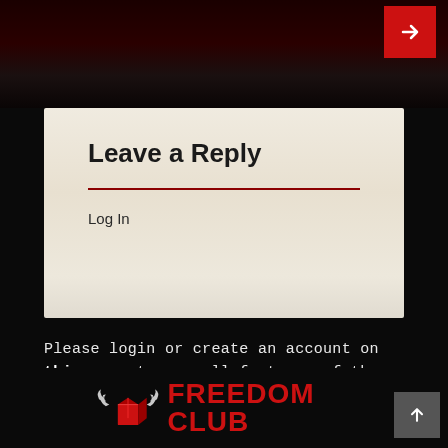[Figure (screenshot): Navigation arrow button (red background with white right arrow) in top right corner]
Leave a Reply
Log In
Please login or create an account on this page to use all features of the site.
[Figure (logo): Freedom Club logo with winged cube icon and red FREEDOM CLUB text]
[Figure (other): Back to top button (grey square with white up arrow)]